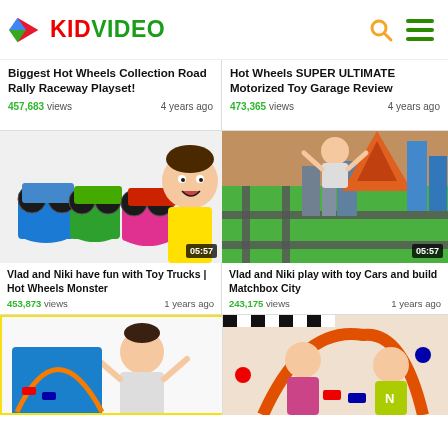KIDVIDEO
Biggest Hot Wheels Collection Road Rally Raceway Playset! | 457,683 views | 4 years ago
Hot Wheels SUPER ULTIMATE Motorized Toy Garage Review | 473,365 views | 4 years ago
[Figure (photo): Thumbnail of Vlad and Niki with monster trucks on colorful cups, duration 05:57]
[Figure (photo): Thumbnail of Vlad and Niki with toy city Matchbox layout, duration 05:57]
Vlad and Niki have fun with Toy Trucks | Hot Wheels Monster | 453,873 views | 1 years ago
Vlad and Niki play with toy Cars and build Matchbox City | 243,175 views | 1 years ago
[Figure (photo): Thumbnail of boy with arms raised beside Hot Wheels track set (yellow border highlight)]
[Figure (photo): Thumbnail of girl and boy with orange Hot Wheels tent/track set]